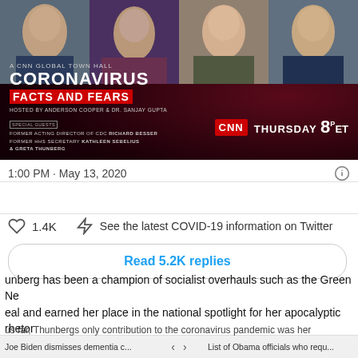[Figure (screenshot): CNN Global Town Hall promotional banner: 'Coronavirus Facts and Fears' hosted by Anderson Cooper and Dr. Sanjay Gupta, with special guests Former Acting Director of CDC Richard Besser, Former HHS Secretary Kathleen Sebelius, and Greta Thunberg. Airs Thursday 8PM ET on CNN. Four portrait photos of guests at top.]
1:00 PM · May 13, 2020
1.4K    See the latest COVID-19 information on Twitter
Read 5.2K replies
unberg has been a champion of socialist overhauls such as the Green Ne al and earned her place in the national spotlight for her apocalyptic rhetor climate change. It's unclear how a 17-year-old high school drop out is mehow an infectious disease expert qualified for CNN's "expert" panel
Joe Biden dismisses dementia c...   <   >   List of Obama officials who requ... us far, Thunbergs only contribution to the coronavirus pandemic was her